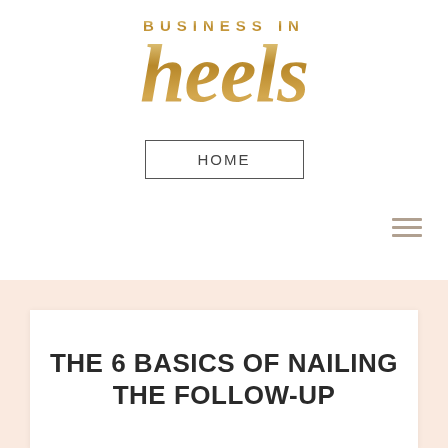BUSINESS IN heels
HOME
THE 6 BASICS OF NAILING THE FOLLOW-UP